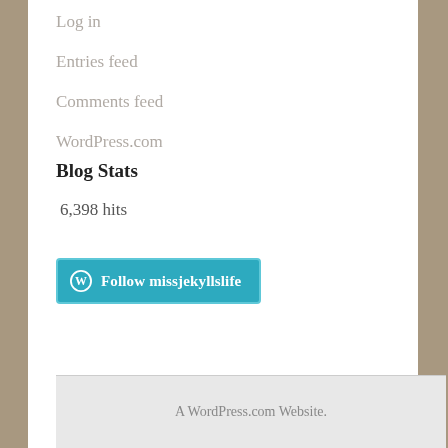Log in
Entries feed
Comments feed
WordPress.com
Blog Stats
6,398 hits
[Figure (other): Follow missjekyllslife button with WordPress logo]
A WordPress.com Website.